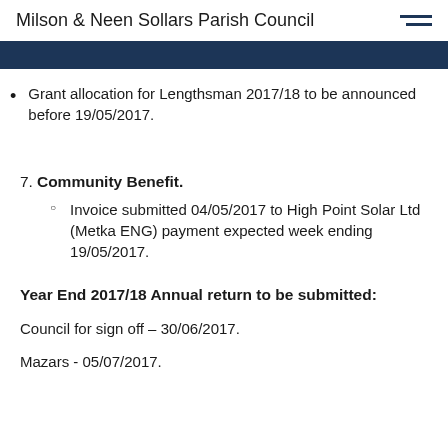Milson & Neen Sollars Parish Council
Grant allocation for Lengthsman 2017/18 to be announced before 19/05/2017.
7. Community Benefit.
Invoice submitted 04/05/2017 to High Point Solar Ltd (Metka ENG) payment expected week ending 19/05/2017.
Year End 2017/18 Annual return to be submitted:
Council for sign off – 30/06/2017.
Mazars - 05/07/2017.